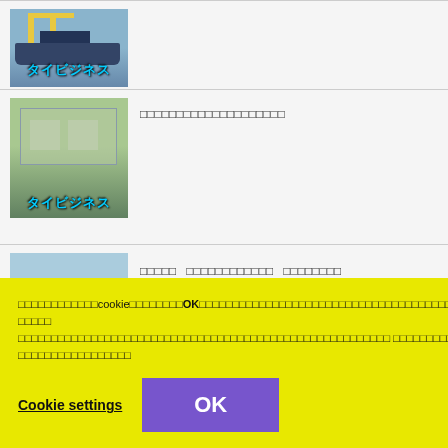[Figure (illustration): タイビジネス thumbnail with ship and cranes (partially visible at top)]
[Figure (illustration): タイビジネス thumbnail with aerial factory/industrial area view]
□□□□□□□□□□□□□□□□□□□□
[Figure (illustration): タイビジネス thumbnail with port/harbor view]
□□□□□　□□□□□□□□□□　□□□□□□□□
□□□□□□□□□□□□□□cookie□□□□□□□□OK□□□□□□□□□□□□□□□□□□□□□□□□□□□□□□□□□□□□□□
□□□□□
□□□□□□□□□□□□□□□□□□□□□□□□□□□□□□□□□□□□□□□□□□□□□□□□□□□□□□□□□□□□□□□□□□□□□□□□□□□□□□□□□□□□□□□□□□
Cookie settings
OK